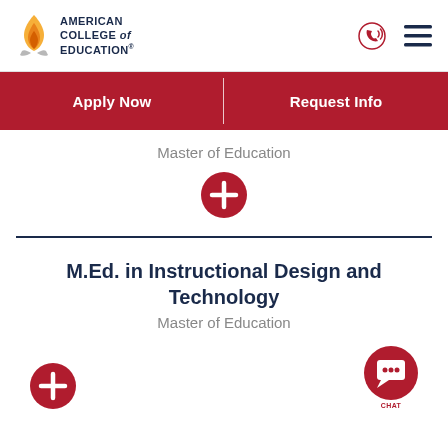American College of Education
Apply Now | Request Info
Master of Education
[Figure (other): Red circular plus button expand icon]
M.Ed. in Instructional Design and Technology
Master of Education
[Figure (other): Red circular plus button expand icon and chat button]